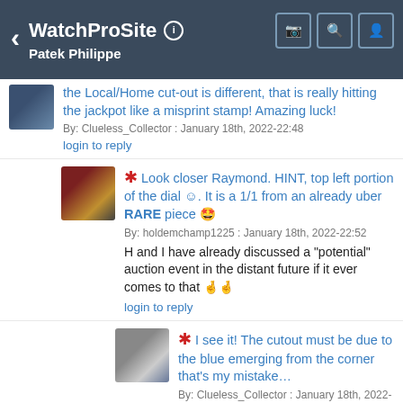WatchProSite  Patek Philippe
the Local/Home cut-out is different, that is really hitting the jackpot like a misprint stamp! Amazing luck!
By: Clueless_Collector : January 18th, 2022-22:48
login to reply
* Look closer Raymond. HINT, top left portion of the dial ☺. It is a 1/1 from an already uber RARE piece 🤩
By: holdemchamp1225 : January 18th, 2022-22:52
H and I have already discussed a "potential" auction event in the distant future if it ever comes to that 🤞🤞
login to reply
* I see it! The cutout must be due to the blue emerging from the corner that's my mistake…
By: Clueless_Collector : January 18th, 2022-23:03
Oh my, the index...but are we sure it's not applied paint but dropped/fell off or someone